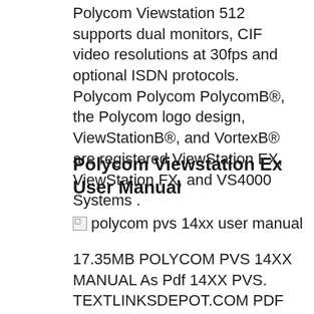Polycom Viewstation 512 supports dual monitors, CIF video resolutions at 30fps and optional ISDN protocols. Polycom Polycom PolycomB®, the Polycom logo design, ViewStationB®, and VortexB® are registered ViewStation EX, ViewStation FX, and VS4000 Systems .
Polycom Viewstation Ex User Manual
[Figure (other): Broken image placeholder with alt text: polycom pvs 14xx user manual]
17.35MB POLYCOM PVS 14XX MANUAL As Pdf 14XX PVS. TEXTLINKSDEPOT.COM PDF Ebook and Manual Reference Polycom Viewstation Pvs 14xx Manual Printable 2020 Download this big ebook